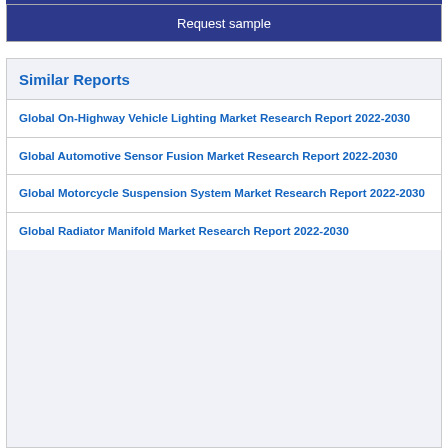Request sample
Similar Reports
Global On-Highway Vehicle Lighting Market Research Report 2022-2030
Global Automotive Sensor Fusion Market Research Report 2022-2030
Global Motorcycle Suspension System Market Research Report 2022-2030
Global Radiator Manifold Market Research Report 2022-2030